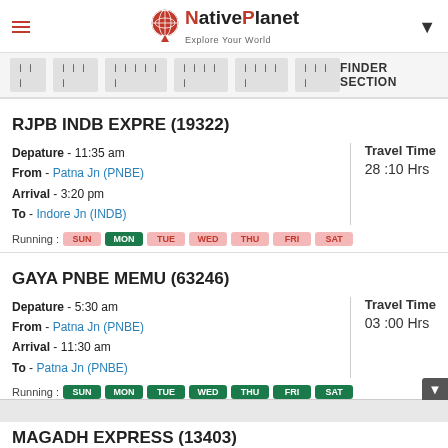NativePlanet — Explore Your World
FINDER SECTION
RJPB INDB EXPRE (19322)
Depature - 11:35 am
From - Patna Jn (PNBE)
Arrival - 3:20 pm
To - Indore Jn (INDB)
Travel Time
28 :10 Hrs
Running : SUN MON TUE WED THU FRI SAT
GAYA PNBE MEMU (63246)
Depature - 5:30 am
From - Patna Jn (PNBE)
Arrival - 11:30 am
To - Patna Jn (PNBE)
Travel Time
03 :00 Hrs
Running : SUN MON TUE WED THU FRI SAT
MAGADH EXPRESS (13403)